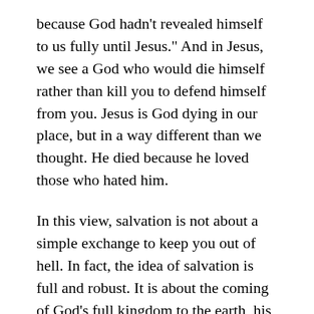because God hadn’t revealed himself to us fully until Jesus.”  And in Jesus, we see a God who would die himself rather than kill you to defend himself from you.  Jesus is God dying in our place, but in a way different than we thought.  He died because he loved those who hated him.
In this view, salvation is not about a simple exchange to keep you out of hell.  In fact, the idea of salvation is full and robust.  It is about the coming of God’s full kingdom to the earth, his will on earth as it is in heaven.  Salvation is met out through a group of people who believe that Jesus’ way of doing life (a cross-shaped life) is the solution to all of the sin of this world (and all sin is a type of violence we do to